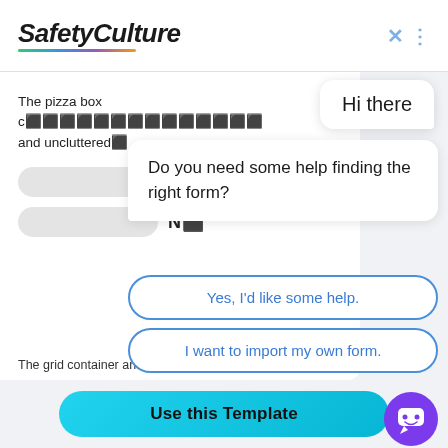[Figure (screenshot): SafetyCulture logo with colorful underline gradient and close X button in top bar]
The pizza box c... and uncluttered
Yes
No
[Figure (screenshot): Chat overlay with 'Hi there' speech bubble, 'Do you need some help finding the right form?' message, and three response buttons: 'Yes, I'd like some help.', 'I want to import my own form.', 'No, I'm good. Thanks!']
The grid container and the pizza pan containe...
Use this Template